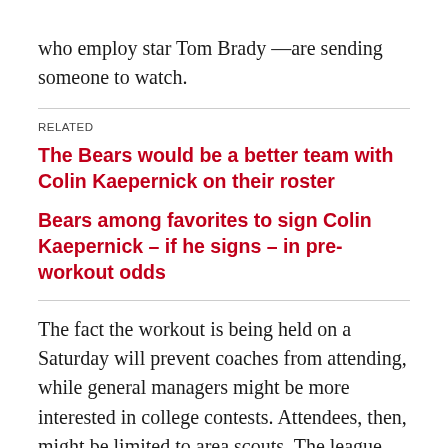who employ star Tom Brady —are sending someone to watch.
RELATED
The Bears would be a better team with Colin Kaepernick on their roster
Bears among favorites to sign Colin Kaepernick – if he signs – in pre-workout odds
The fact the workout is being held on a Saturday will prevent coaches from attending, while general managers might be more interested in college contests. Attendees, then, might be limited to area scouts. The league will make video of the workout available to all 32 teams.